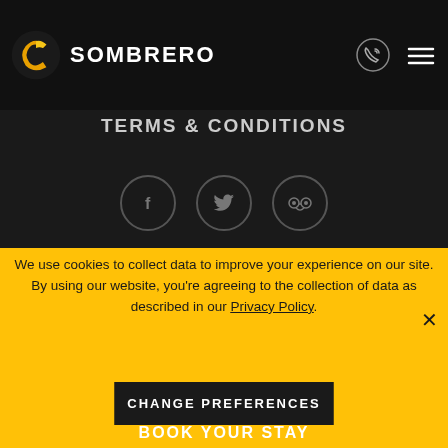Comfort SOMBRERO
TERMS & CONDITIONS
[Figure (illustration): Three social media icon buttons in circular outlines: Facebook (f), Twitter (bird), and TripAdvisor (owl-like face), on dark background]
We use cookies to collect data to improve your experience on our site. By using our website, you're agreeing to the collection of data as described in our Privacy Policy.
CHANGE PREFERENCES
BOOK YOUR STAY